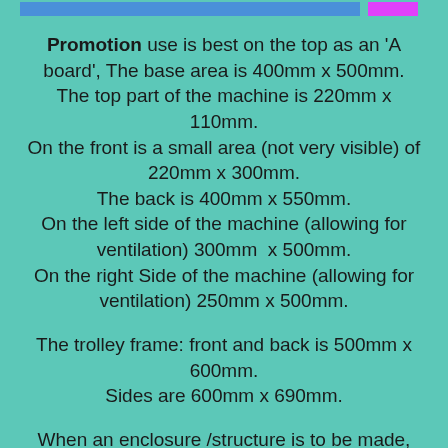Promotion use is best on the top as an 'A board', The base area is 400mm x 500mm.
The top part of the machine is 220mm x 110mm.
On the front is a small area (not very visible) of 220mm x 300mm.
The back is 400mm x 550mm.
On the left side of the machine (allowing for ventilation) 300mm x 500mm.
On the right Side of the machine (allowing for ventilation) 250mm x 500mm.
The trolley frame: front and back is 500mm x 600mm. Sides are 600mm x 690mm.
When an enclosure /structure is to be made, ventilation